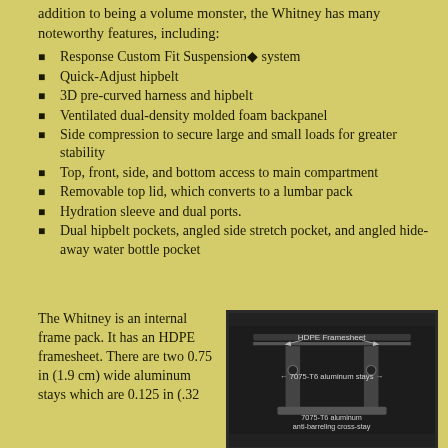addition to being a volume monster, the Whitney has many noteworthy features, including:
Response Custom Fit Suspension◆ system
Quick-Adjust hipbelt
3D pre-curved harness and hipbelt
Ventilated dual-density molded foam backpanel
Side compression to secure large and small loads for greater stability
Top, front, side, and bottom access to main compartment
Removable top lid, which converts to a lumbar pack
Hydration sleeve and dual ports.
Dual hipbelt pockets, angled side stretch pocket, and angled hide-away water bottle pocket
The Whitney is an internal frame pack. It has an HDPE framesheet. There are two 0.75 in (1.9 cm) wide aluminum stays which are 0.125 in (.32
[Figure (photo): Close-up photo of internal frame components with labels: HDPE Framesheet (top), 7075-T6 aluminum stays (middle with arrows), 7075-T6 aluminum anti-barreling cross-stay (bottom)]